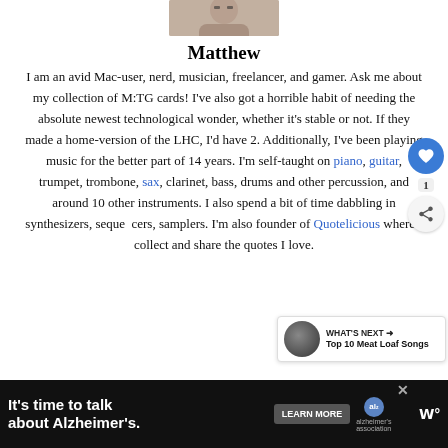[Figure (photo): Partial photo of a person at top of page]
Matthew
I am an avid Mac-user, nerd, musician, freelancer, and gamer. Ask me about my collection of M:TG cards! I've also got a horrible habit of needing the absolute newest technological wonder, whether it's stable or not. If they made a home-version of the LHC, I'd have 2. Additionally, I've been playing music for the better part of 14 years. I'm self-taught on piano, guitar, trumpet, trombone, sax, clarinet, bass, drums and other percussion, and around 10 other instruments. I also spend a bit of time dabbling in synthesizers, sequencers, samplers. I'm also founder of Quotelicious where I collect and share the quotes I love.
[Figure (screenshot): Ad banner: It's time to talk about Alzheimer's. LEARN MORE. Alzheimer's association logo. Tidal logo.]